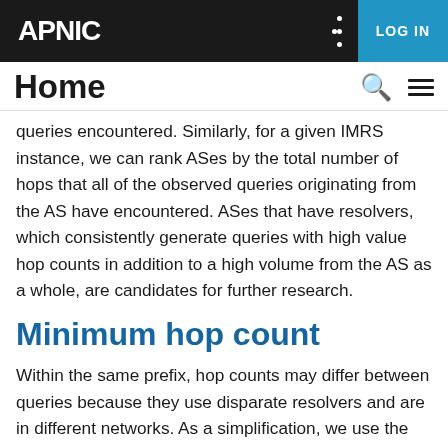APNIC | LOG IN
Home
queries encountered. Similarly, for a given IMRS instance, we can rank ASes by the total number of hops that all of the observed queries originating from the AS have encountered. ASes that have resolvers, which consistently generate queries with high value hop counts in addition to a high volume from the AS as a whole, are candidates for further research.
Minimum hop count
Within the same prefix, hop counts may differ between queries because they use disparate resolvers and are in different networks. As a simplification, we use the lowest hop count